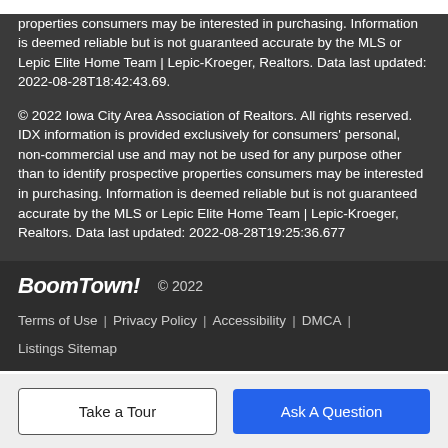properties consumers may be interested in purchasing. Information is deemed reliable but is not guaranteed accurate by the MLS or Lepic Elite Home Team | Lepic-Kroeger, Realtors. Data last updated: 2022-08-28T18:42:43.69.
© 2022 Iowa City Area Association of Realtors. All rights reserved. IDX information is provided exclusively for consumers' personal, non-commercial use and may not be used for any purpose other than to identify prospective properties consumers may be interested in purchasing. Information is deemed reliable but is not guaranteed accurate by the MLS or Lepic Elite Home Team | Lepic-Kroeger, Realtors. Data last updated: 2022-08-28T19:25:36.677
BoomTown! © 2022 | Terms of Use | Privacy Policy | Accessibility | DMCA | Listings Sitemap